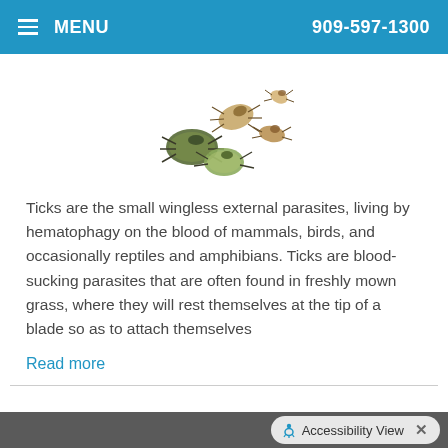MENU  909-597-1300
[Figure (photo): Photograph of several ticks of various sizes and stages, shown on a white background. Includes engorged and un-engorged ticks.]
Ticks are the small wingless external parasites, living by hematophagy on the blood of mammals, birds, and occasionally reptiles and amphibians. Ticks are blood-sucking parasites that are often found in freshly mown grass, where they will rest themselves at the tip of a blade so as to attach themselves
Read more